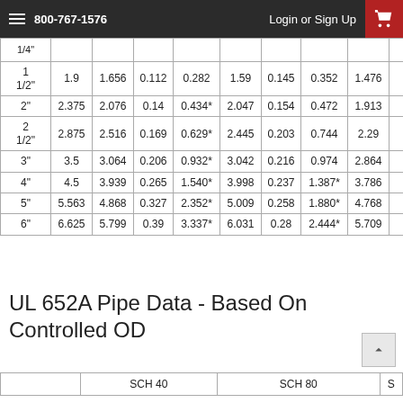800-767-1576   Login or Sign Up
|  | OD | ID | Wall | Wt/Ft | OD | ID | Wt/Ft | ID |  |
| --- | --- | --- | --- | --- | --- | --- | --- | --- | --- |
| 1/4" |  |  |  |  |  |  |  |  |  |
| 1 1/2" | 1.9 | 1.656 | 0.112 | 0.282 | 1.59 | 0.145 | 0.352 | 1.476 |  |
| 2" | 2.375 | 2.076 | 0.14 | 0.434* | 2.047 | 0.154 | 0.472 | 1.913 |  |
| 2 1/2" | 2.875 | 2.516 | 0.169 | 0.629* | 2.445 | 0.203 | 0.744 | 2.29 |  |
| 3" | 3.5 | 3.064 | 0.206 | 0.932* | 3.042 | 0.216 | 0.974 | 2.864 |  |
| 4" | 4.5 | 3.939 | 0.265 | 1.540* | 3.998 | 0.237 | 1.387* | 3.786 |  |
| 5" | 5.563 | 4.868 | 0.327 | 2.352* | 5.009 | 0.258 | 1.880* | 4.768 |  |
| 6" | 6.625 | 5.799 | 0.39 | 3.337* | 6.031 | 0.28 | 2.444* | 5.709 |  |
UL 652A Pipe Data - Based On Controlled OD
|  | SCH 40 | SCH 80 | S |
| --- | --- | --- | --- |